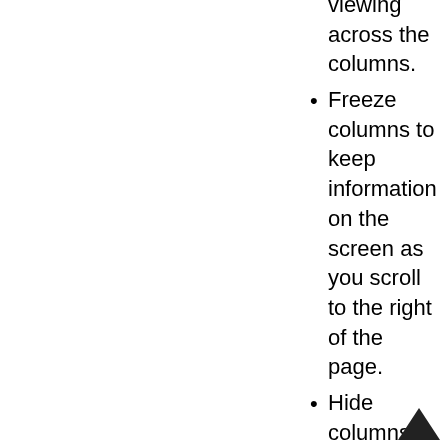viewing across the columns.
Freeze columns to keep information on the screen as you scroll to the right of the page.
Hide columns you don't use. Customize your printout: hidden columns do not print.
Use Combo for Check boxes - changes the grid to eliminate